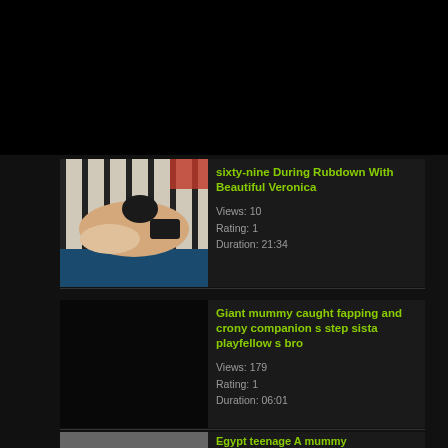[Figure (screenshot): Video listing page with dark background showing adult video thumbnails and metadata]
[Figure (photo): Thumbnail for first video: sixty-nine During Rubdown With Beautiful Veronica]
sixty-nine During Rubdown With Beautiful Veronica
Views: 10
Rating: 1
Duration: 21:34
[Figure (photo): Black thumbnail for second video: Giant mummy caught fapping and crony companion s step sista playfellow s bro]
Giant mummy caught fapping and crony companion s step sista playfellow s bro
Views: 179
Rating: 1
Duration: 06:01
Egypt teenage A mummy